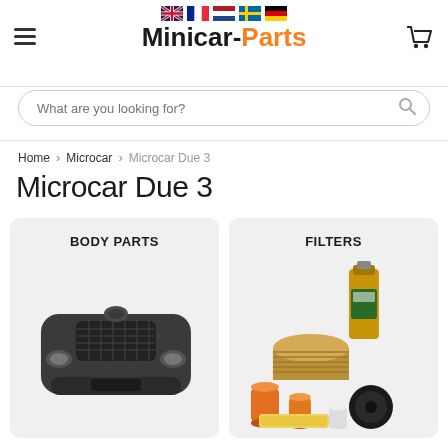[Figure (logo): MINICAR-PARTS logo with black and orange text, hamburger menu icon on left, shopping cart on right, flag icons (UK, France, Netherlands, Sweden, Germany) above]
What are you looking for?
Home > Microcar > Microcar Due 3
Microcar Due 3
[Figure (photo): BODY PARTS category card with image of a microcar front bumper]
[Figure (photo): FILTERS category card with image of various automotive filters and oil bottle]